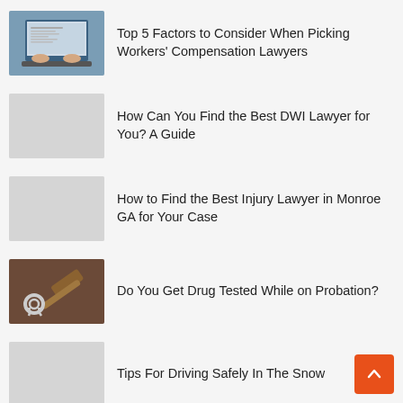[Figure (photo): Laptop with workers compensation form on screen, hands typing]
Top 5 Factors to Consider When Picking Workers' Compensation Lawyers
[Figure (photo): Gray placeholder image]
How Can You Find the Best DWI Lawyer for You? A Guide
[Figure (photo): Gray placeholder image]
How to Find the Best Injury Lawyer in Monroe GA for Your Case
[Figure (photo): Handcuffs and gavel on dark background]
Do You Get Drug Tested While on Probation?
[Figure (photo): Gray placeholder image]
Tips For Driving Safely In The Snow